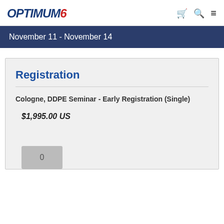OPTIMUM6 [logo] [cart icon] [search icon] [menu icon]
November 11 - November 14
Registration
Cologne, DDPE Seminar - Early Registration (Single)
$1,995.00 US
0